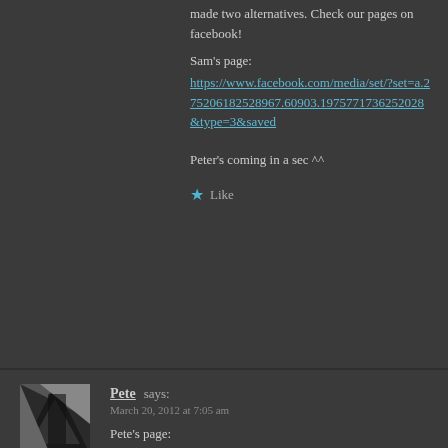made two alternatives. Check our pages on facebook!
Sam's page:
https://www.facebook.com/media/set/?set=a.275206182528967.60903.1975771736252028&type=3&saved
Peter's coming in a sec ^^
★ Like
Pete says:
March 20, 2012 at 7:05 am
Pete's page:
http://www.facebook.com/media/set/?set=a.212276362187432.51096.15942313747275